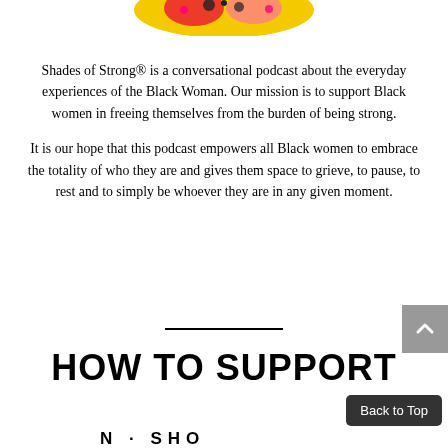[Figure (illustration): Partial colorful illustration at top of page, cropped — appears to show a hat or decorative object with yellow, pink, and dark colors.]
Shades of Strong® is a conversational podcast about the everyday experiences of the Black Woman. Our mission is to support Black women in freeing themselves from the burden of being strong.
It is our hope that this podcast empowers all Black women to embrace the totality of who they are and gives them space to grieve, to pause, to rest and to simply be whoever they are in any given moment.
HOW TO SUPPORT
[Figure (illustration): Partial decorative text/logo at the bottom of the page, partially cropped, showing letters 'N · SHO' in a stylized arc or circular arrangement.]